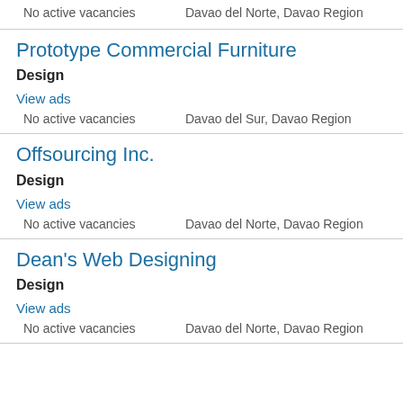No active vacancies    Davao del Norte, Davao Region
Prototype Commercial Furniture
Design
View ads
No active vacancies    Davao del Sur, Davao Region
Offsourcing Inc.
Design
View ads
No active vacancies    Davao del Norte, Davao Region
Dean's Web Designing
Design
View ads
No active vacancies    Davao del Norte, Davao Region